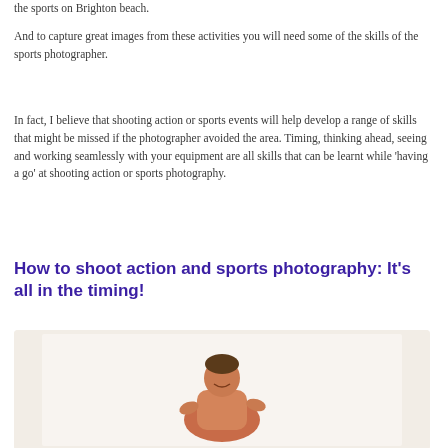the sports on Brighton beach.
And to capture great images from these activities you will need some of the skills of the sports photographer.
In fact, I believe that shooting action or sports events will help develop a range of skills that might be missed if the photographer avoided the area. Timing, thinking ahead, seeing and working seamlessly with your equipment are all skills that can be learnt while 'having a go' at shooting action or sports photography.
How to shoot action and sports photography: It's all in the timing!
[Figure (photo): A male athlete, shirtless and smiling, appearing to be in motion or celebrating, photographed against a light/white background.]